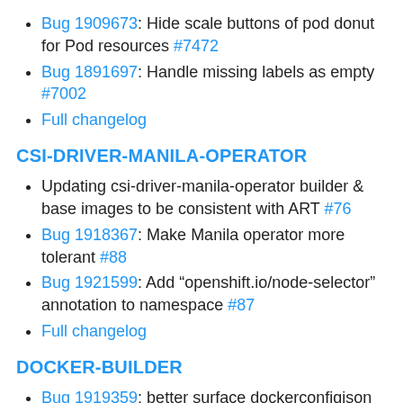Bug 1909673: Hide scale buttons of pod donut for Pod resources #7472
Bug 1891697: Handle missing labels as empty #7002
Full changelog
CSI-DRIVER-MANILA-OPERATOR
Updating csi-driver-manila-operator builder & base images to be consistent with ART #76
Bug 1918367: Make Manila operator more tolerant #88
Bug 1921599: Add “openshift.io/node-selector” annotation to namespace #87
Full changelog
DOCKER-BUILDER
Bug 1919359: better surface dockerconfigjson errors